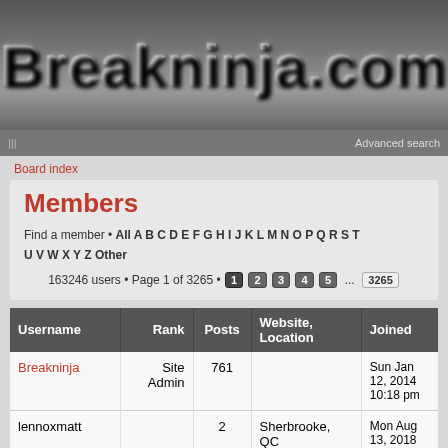[Figure (logo): Breakninja.com logo in metallic silver 3D lettering on dark grey background]
Board index | Advanced search
Board index
Members
Find a member • All A B C D E F G H I J K L M N O P Q R S T U V W X Y Z Other
163246 users • Page 1 of 3265 • 1 2 3 4 5 ... 3265
| Username | Rank | Posts | Website, Location | Joined |
| --- | --- | --- | --- | --- |
| Breakninja | Site Admin | 761 |  | Sun Jan 12, 2014 10:18 pm |
| lennoxmatt |  | 2 | Sherbrooke, QC | Mon Aug 13, 2018 5:51 pm |
| (partial row) |  |  |  | Tu... |